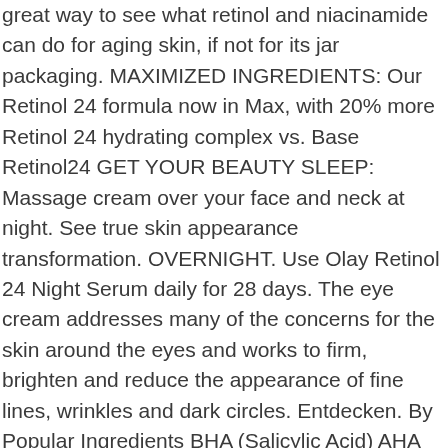great way to see what retinol and niacinamide can do for aging skin, if not for its jar packaging. MAXIMIZED INGREDIENTS: Our Retinol 24 formula now in Max, with 20% more Retinol 24 hydrating complex vs. Base Retinol24 GET YOUR BEAUTY SLEEP: Massage cream over your face and neck at night. See true skin appearance transformation. OVERNIGHT. Use Olay Retinol 24 Night Serum daily for 28 days. The eye cream addresses many of the concerns for the skin around the eyes and works to firm, brighten and reduce the appearance of fine lines, wrinkles and dark circles. Entdecken. By Popular Ingredients BHA (Salicylic Acid) AHA (All Types) PHA (All Types) Niacinamide Vitamin C (All Types) Vitamin A Hyaluronic Acid Ceramides Azelaic Acid Squalane Snail Mucin Centella Asiatica & Madecassoside Urea Arbutin Glättet und hydratisiert. I definitely feel like this is a serum everyone should try! Retinol24 delivers all of these benefits with virtually no irritation. I usually use this product every other night because I am not used to retinol products. I received OLAY RETINOL 24